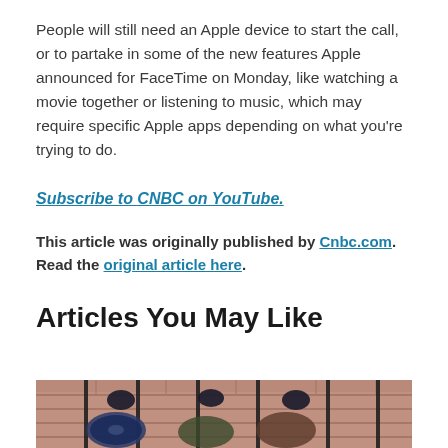People will still need an Apple device to start the call, or to partake in some of the new features Apple announced for FaceTime on Monday, like watching a movie together or listening to music, which may require specific Apple apps depending on what you're trying to do.
Subscribe to CNBC on YouTube.
This article was originally published by Cnbc.com. Read the original article here.
Articles You May Like
[Figure (photo): Bottom portion of a photo showing what appears to be people in uniforms or a marching band setting, with brick building background visible.]